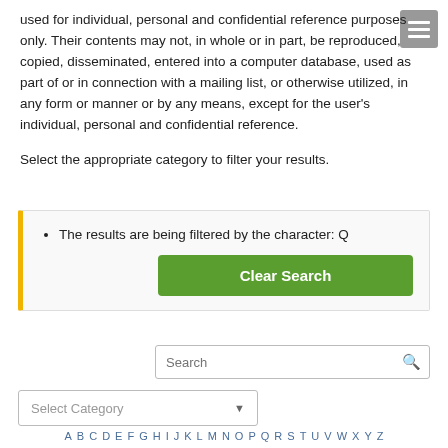used for individual, personal and confidential reference purposes only. Their contents may not, in whole or in part, be reproduced, copied, disseminated, entered into a computer database, used as part of or in connection with a mailing list, or otherwise utilized, in any form or manner or by any means, except for the user's individual, personal and confidential reference.
Select the appropriate category to filter your results.
The results are being filtered by the character: Q
Clear Search
Search
Select Category
A B C D E F G H I J K L M N O P Q R S T U V W X Y Z